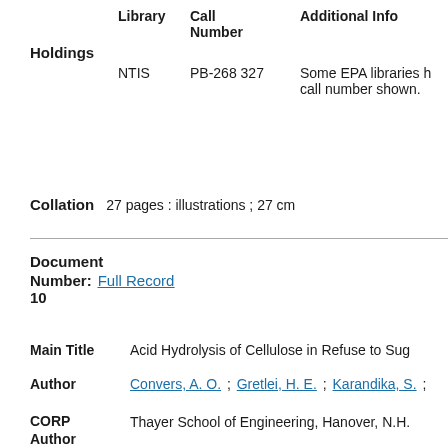|  | Library | Call Number | Additional Info |
| --- | --- | --- | --- |
| Holdings | NTIS | PB-268 327 | Some EPA libraries h... call number shown. |
Collation   27 pages : illustrations ; 27 cm
Document Number: Full Record
10
Main Title   Acid Hydrolysis of Cellulose in Refuse to Sug...
Author   Convers, A. O. ; Gretlei, H. E. ; Karandika, S. ; ...
CORP Author   Thayer School of Engineering, Hanover, N.H....